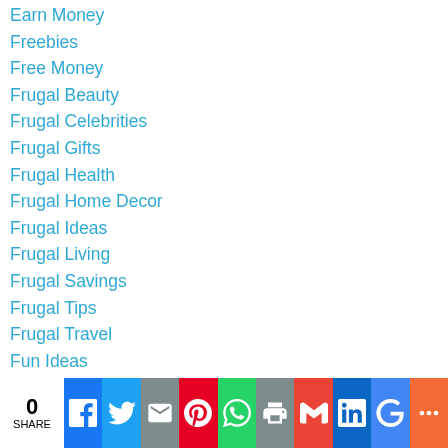Earn Money
Freebies
Free Money
Frugal Beauty
Frugal Celebrities
Frugal Gifts
Frugal Health
Frugal Home Decor
Frugal Ideas
Frugal Living
Frugal Savings
Frugal Tips
Frugal Travel
Fun Ideas
Garage Sale
Gift Ideas
Giving Back
Happiness
Healthy Living
0 SHARE | Facebook | Twitter | Email | Pinterest | WhatsApp | Print | Gmail | LinkedIn | Google | More